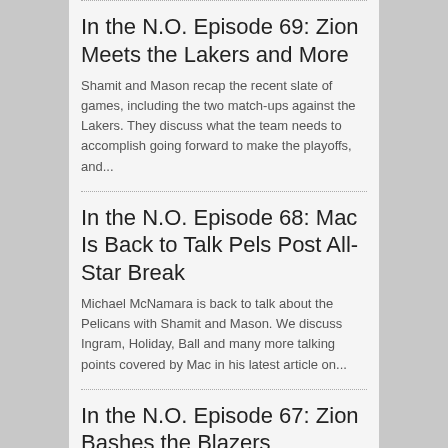In the N.O. Episode 69: Zion Meets the Lakers and More
Shamit and Mason recap the recent slate of games, including the two match-ups against the Lakers. They discuss what the team needs to accomplish going forward to make the playoffs, and...
In the N.O. Episode 68: Mac Is Back to Talk Pels Post All-Star Break
Michael McNamara is back to talk about the Pelicans with Shamit and Mason. We discuss Ingram, Holiday, Ball and many more talking points covered by Mac in his latest article on...
In the N.O. Episode 67: Zion Bashes the Blazers
Shamit and Mason recap this Pelicans victory...